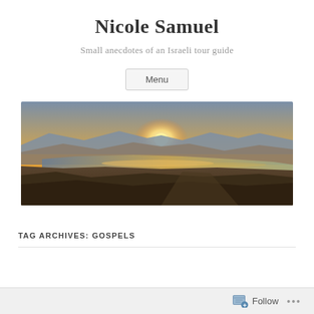Nicole Samuel
Small anecdotes of an Israeli tour guide
Menu
[Figure (photo): Panoramic landscape photo of a desert and sea view at sunset, showing a large body of water (likely the Dead Sea) in the middle distance with mountains silhouetted against an orange and blue sky.]
TAG ARCHIVES: GOSPELS
Follow ...